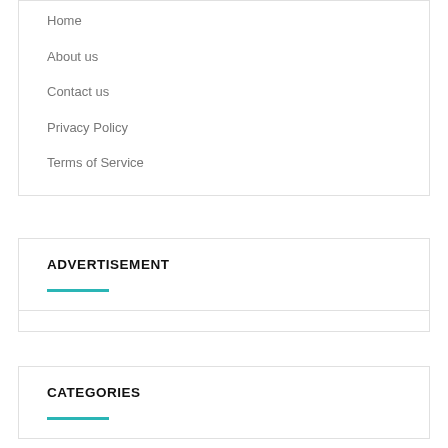Home
About us
Contact us
Privacy Policy
Terms of Service
ADVERTISEMENT
CATEGORIES